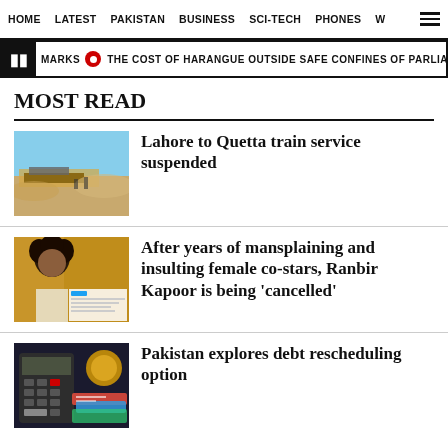HOME  LATEST  PAKISTAN  BUSINESS  SCI-TECH  PHONES  W
MARKS  THE COST OF HARANGUE OUTSIDE SAFE CONFINES OF PARLIAMENT
MOST READ
[Figure (photo): A train derailment scene with sandy terrain and debris]
Lahore to Quetta train service suspended
[Figure (photo): A man with curly hair, possibly Ranbir Kapoor, with a social media post overlay]
After years of mansplaining and insulting female co-stars, Ranbir Kapoor is being 'cancelled'
[Figure (photo): Calculator and financial documents on desk]
Pakistan explores debt rescheduling option